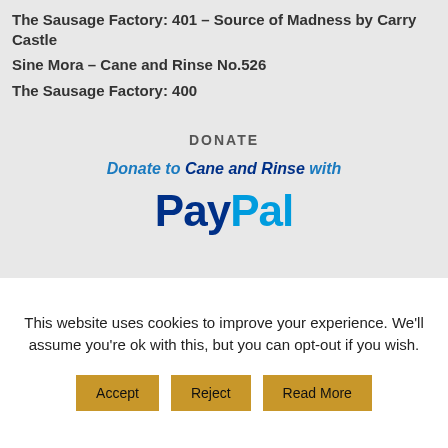The Sausage Factory: 401 – Source of Madness by Carry Castle
Sine Mora – Cane and Rinse No.526
The Sausage Factory: 400
DONATE
[Figure (logo): Donate to Cane and Rinse with PayPal logo banner]
This website uses cookies to improve your experience. We'll assume you're ok with this, but you can opt-out if you wish.
Accept  Reject  Read More